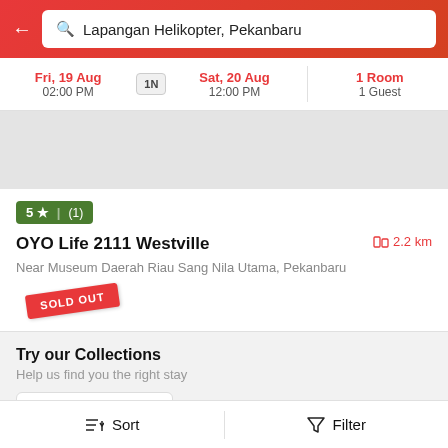Lapangan Helikopter, Pekanbaru
Fri, 19 Aug 02:00 PM | 1N | Sat, 20 Aug 12:00 PM | 1 Room 1 Guest
[Figure (screenshot): Hotel listing image placeholder (gray area)]
5 ★ | (1)
OYO Life 2111 Westville
2.2 km
Near Museum Daerah Riau Sang Nila Utama, Pekanbaru
SOLD OUT
Try our Collections
Help us find you the right stay
Local IDs accepted
Sort | Filter